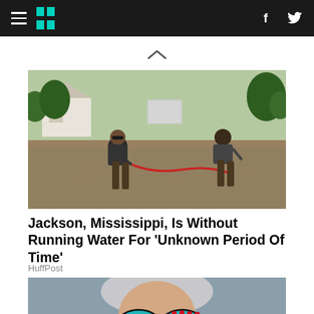HuffPost navigation
[Figure (photo): Two people wading through floodwater in a suburban neighborhood, pulling a red rope/hose. Houses and trees visible in the background.]
Jackson, Mississippi, Is Without Running Water For 'Unknown Period Of Time'
HuffPost
[Figure (photo): Elderly woman with silver hair wearing large teal/blue reflective sunglasses, partially visible at bottom of page.]